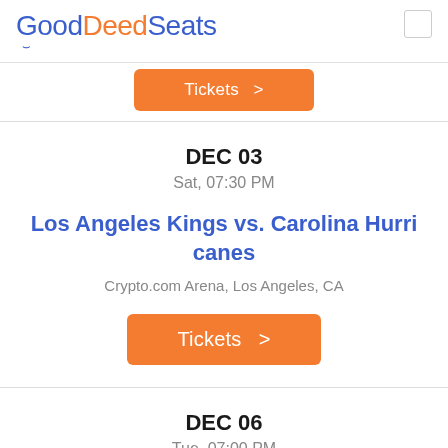GoodDeedSeats
[Figure (other): Orange tickets button (partial, top of page)]
DEC 03
Sat, 07:30 PM
Los Angeles Kings vs. Carolina Hurricanes
Crypto.com Arena, Los Angeles, CA
[Figure (other): Orange Tickets > button]
DEC 06
Tue, 07:00 PM